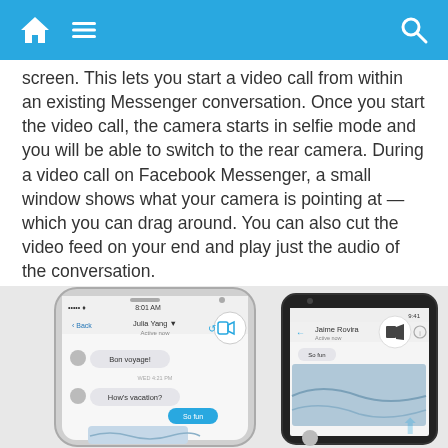Navigation bar with home, menu, and search icons
screen. This lets you start a video call from within an existing Messenger conversation. Once you start the video call, the camera starts in selfie mode and you will be able to switch to the rear camera. During a video call on Facebook Messenger, a small window shows what your camera is pointing at — which you can drag around. You can also cut the video feed on your end and play just the audio of the conversation.
[Figure (screenshot): Two smartphone screenshots showing Facebook Messenger video call feature — an iPhone on the left with a conversation showing 'Bon voyage!' and 'How's vacation?' with a video call button highlighted, and an Android phone on the right showing a Messenger conversation with Jaime Rovira and a video call button highlighted.]